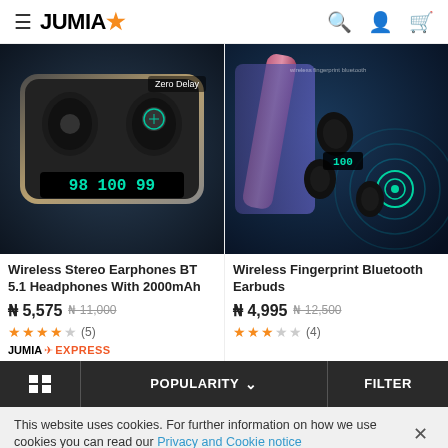JUMIA
[Figure (photo): Wireless earbuds in a charging case with LED display showing 98/100/99]
[Figure (photo): Wireless Fingerprint Bluetooth Earbuds with charging case showing 100 on display, on blue background]
Wireless Stereo Earphones BT 5.1 Headphones With 2000mAh
₦ 5,575  ₦ 11,000
★★★★☆ (5)
JUMIA EXPRESS
Wireless Fingerprint Bluetooth Earbuds
₦ 4,995  ₦ 12,500
★★★☆☆ (4)
POPULARITY  FILTER
This website uses cookies. For further information on how we use cookies you can read our Privacy and Cookie notice